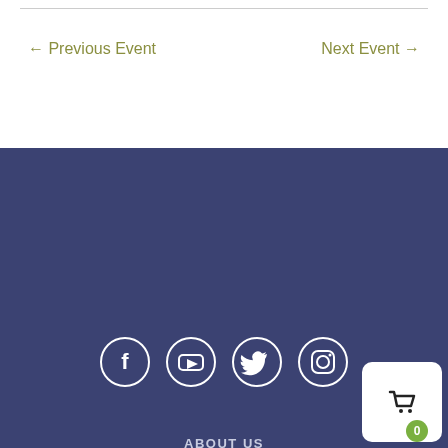← Previous Event
Next Event →
[Figure (illustration): Footer social media icons: Facebook, YouTube, Twitter, Instagram in white circles on dark navy background]
ABOUT US
RESOURCES
FIND A MENTOR
EVENTS
NEWS